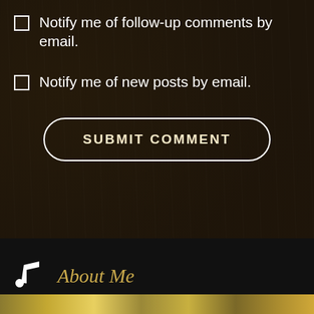Notify me of follow-up comments by email.
Notify me of new posts by email.
SUBMIT COMMENT
About Me